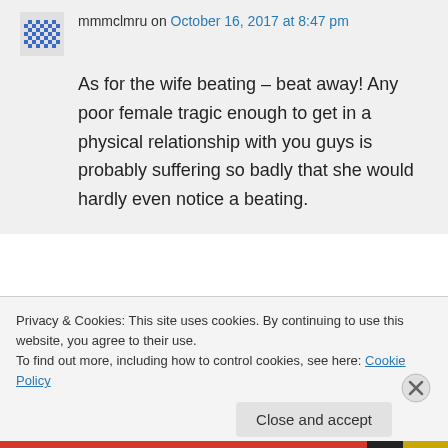mmmclmru on October 16, 2017 at 8:47 pm
As for the wife beating – beat away! Any poor female tragic enough to get in a physical relationship with you guys is probably suffering so badly that she would hardly even notice a beating.
Privacy & Cookies: This site uses cookies. By continuing to use this website, you agree to their use. To find out more, including how to control cookies, see here: Cookie Policy